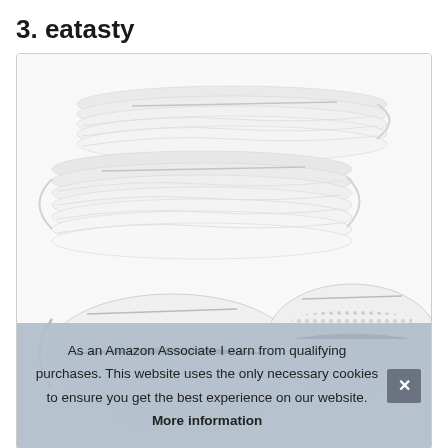3. eatasty
[Figure (photo): Product photo showing multiple white KN95/FFP2 style face masks stacked together in a group, with two individual masks displayed in the foreground showing dotted filter material detail]
As an Amazon Associate I earn from qualifying purchases. This website uses the only necessary cookies to ensure you get the best experience on our website. More information